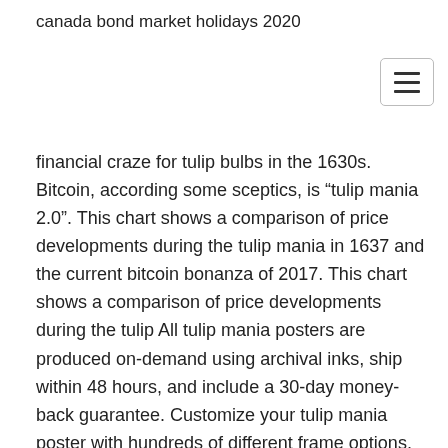canada bond market holidays 2020
financial craze for tulip bulbs in the 1630s. Bitcoin, according some sceptics, is “tulip mania 2.0”. This chart shows a comparison of price developments during the tulip mania in 1637 and the current bitcoin bonanza of 2017. This chart shows a comparison of price developments during the tulip All tulip mania posters are produced on-demand using archival inks, ship within 48 hours, and include a 30-day money-back guarantee. Customize your tulip mania poster with hundreds of different frame options, and get the exact look that you want for your wall!
15 Jun 2012 Dutch Tulip Bulb Bubble Chart. Tulip prices steadily rose with their growing popularity and bulbs were